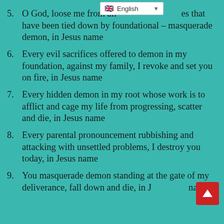5. O God, loose me from all [forces] that have been tied down by foundational – masquerade demon, in Jesus name
6. Every evil sacrifices offered to demon in my foundation, against my family, I revoke and set you on fire, in Jesus name
7. Every hidden demon in my root whose work is to afflict and cage my life from progressing, scatter and die, in Jesus name
8. Every parental pronouncement rubbishing and attacking with unsettled problems, I destroy you today, in Jesus name
9. You masquerade demon standing at the gate of my deliverance, fall down and die, in Jesus name.